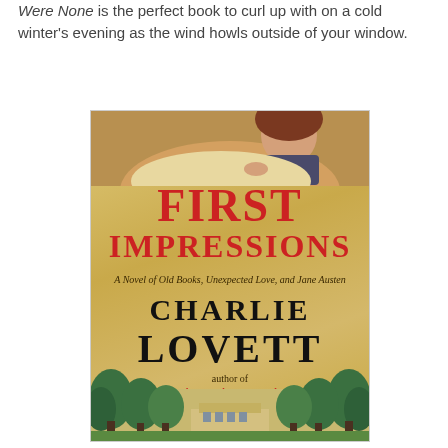Were None is the perfect book to curl up with on a cold winter's evening as the wind howls outside of your window.
[Figure (photo): Book cover of 'First Impressions: A Novel of Old Books, Unexpected Love, and Jane Austen' by Charlie Lovett, author of The Bookman's Tale. The cover features a parchment-colored background with large red title text, a girl peering over the top, trees at the bottom, and an estate in the background.]